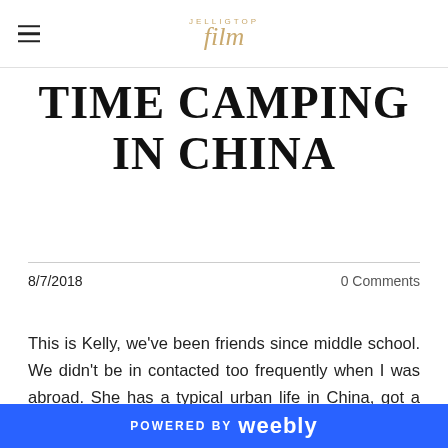JELLIGTOP film
TIME CAMPING IN CHINA
8/7/2018
0 Comments
This is Kelly, we've been friends since middle school. We didn't be in contacted too frequently when I was abroad. She has a typical urban life in China, got a office job, got married, shopping and eat when she's free. Last month,
POWERED BY weebly